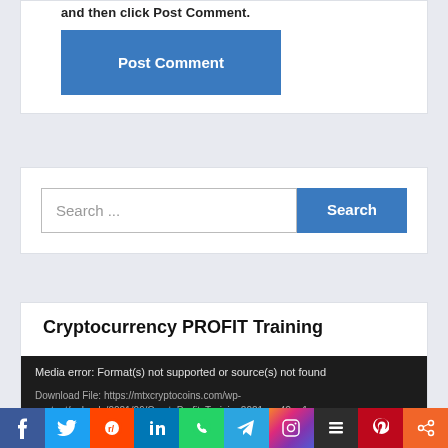and then click Post Comment.
Post Comment
Search ...
Search
Cryptocurrency PROFIT Training
Media error: Format(s) not supported or source(s) not found
Download File: https://mtxcryptocoins.com/wp-content/uploads/2021/06/CryptoProfitsTraining2021.mp4?_=1
Download File: https://mtxcryptocoins.com/wp-